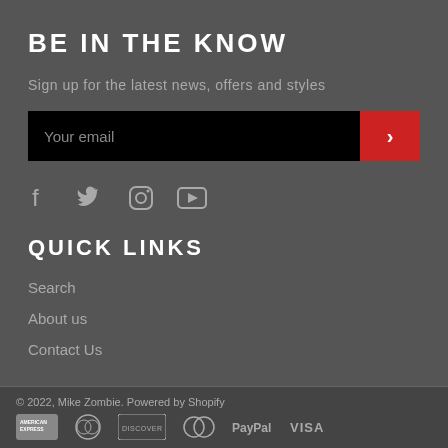BE IN THE KNOW
Sign up for the latest news, offers and styles
[Figure (other): Email input field with black background showing 'Your email' placeholder text, and a red submit button with a right arrow chevron]
[Figure (other): Social media icons row: Facebook, Twitter, Instagram, YouTube]
QUICK LINKS
Search
About us
Contact Us
© 2022, Mike Zombie. Powered by Shopify
[Figure (other): Payment method icons: American Express, Diners Club, Discover, Mastercard, PayPal, Visa]